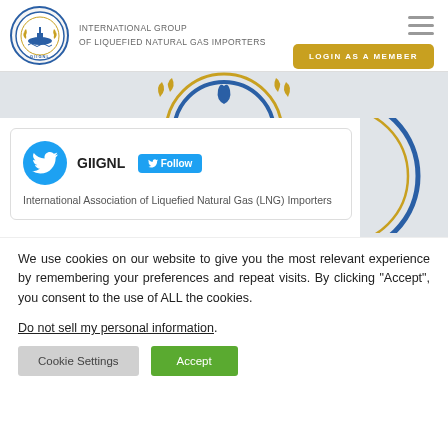[Figure (logo): GIIGNL circular logo with ship and laurel wreath in blue and gold]
INTERNATIONAL GROUP
OF LIQUEFIED NATURAL GAS IMPORTERS
[Figure (screenshot): Hamburger menu icon (three horizontal lines)]
[Figure (screenshot): LOGIN AS A MEMBER gold button]
[Figure (screenshot): GIIGNL logo banner partial view in light gray hero band]
[Figure (screenshot): Twitter widget showing GIIGNL handle with Follow button and description: International Association of Liquefied Natural Gas (LNG) Importers]
We use cookies on our website to give you the most relevant experience by remembering your preferences and repeat visits. By clicking “Accept”, you consent to the use of ALL the cookies.
Do not sell my personal information.
[Figure (screenshot): Cookie Settings button (gray) and Accept button (green)]